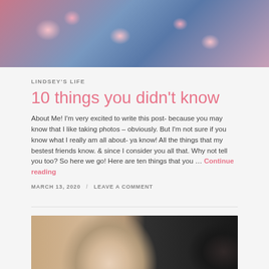[Figure (photo): Top portion of photo showing person wearing floral top (pink flowers on teal/blue background) against pink background]
LINDSEY'S LIFE
10 things you didn't know
About Me! I'm very excited to write this post- because you may know that I like taking photos – obviously. But I'm not sure if you know what I really am all about- ya know! All the things that my bestest friends know. & since I consider you all that. Why not tell you too? So here we go! Here are ten things that you … Continue reading
MARCH 13, 2020 / LEAVE A COMMENT
[Figure (photo): Photo of smiling woman with bangs and a man (partially visible) laughing together]